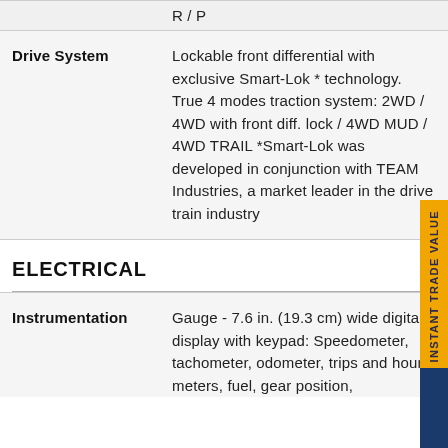R / P
| Feature | Description |
| --- | --- |
| Drive System | Lockable front differential with exclusive Smart-Lok * technology. True 4 modes traction system: 2WD / 4WD with front diff. lock / 4WD MUD / 4WD TRAIL *Smart-Lok was developed in conjunction with TEAM Industries, a market leader in the drive train industry |
| Instrumentation | Gauge - 7.6 in. (19.3 cm) wide digital display with keypad: Speedometer, tachometer, odometer, trips and hour meters, fuel, gear position, |
ELECTRICAL